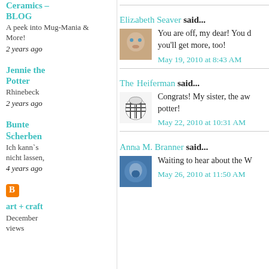Ceramics – BLOG
A peek into Mug-Mania & More!
2 years ago
Jennie the Potter
Rhinebeck
2 years ago
Bunte Scherben
Ich kann`s nicht lassen,
4 years ago
art + craft
December views
Elizabeth Seaver said...
You are off, my dear! You d you'll get more, too!
May 19, 2010 at 8:43 AM
The Heiferman said...
Congrats! My sister, the aw potter!
May 22, 2010 at 10:31 AM
Anna M. Branner said...
Waiting to hear about the W
May 26, 2010 at 11:50 AM